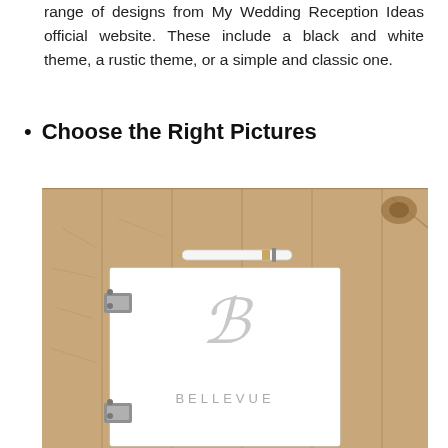range of designs from My Wedding Reception Ideas official website. These include a black and white theme, a rustic theme, or a simple and classic one.
Choose the Right Pictures
[Figure (photo): A white hardcover wedding guest book with a decorative cursive 'B' monogram and the word BELLEVUE printed below it, lying on a rustic wooden plank surface with a white pen resting on top.]